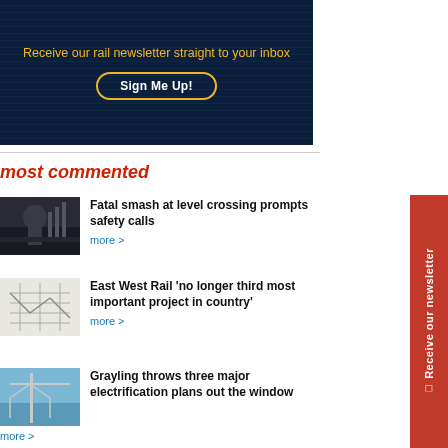[Figure (infographic): Dark blue newsletter signup banner with text 'Receive our rail newsletter straight to your inbox' in yellow and a 'Sign Me Up!' button with yellow border]
most commented
Fatal smash at level crossing prompts safety calls
more >
East West Rail 'no longer third most important project in country'
more >
Grayling throws three major electrification plans out the window
more >
[Figure (infographic): Red vertical sidebar with 'Receive our newsletter' text rotated 90 degrees and a bookmark icon]